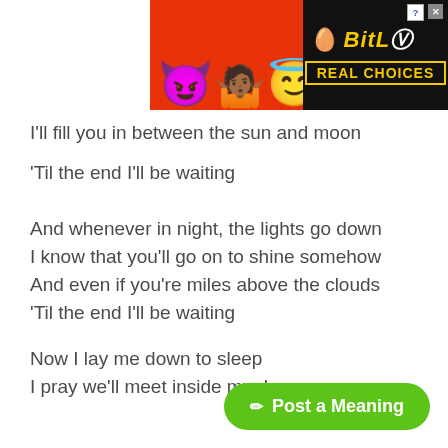[Figure (other): BitLife advertisement banner with emoji characters (devil, person shrugging, angel) on red background with BitLife logo and REAL CHOICES text on black background]
I'll fill you in between the sun and moon
'Til the end I'll be waiting
And whenever in night, the lights go down
I know that you'll go on to shine somehow
And even if you're miles above the clouds
'Til the end I'll be waiting
Now I lay me down to sleep
I pray we'll meet inside my dreams
✏ Post a Meaning